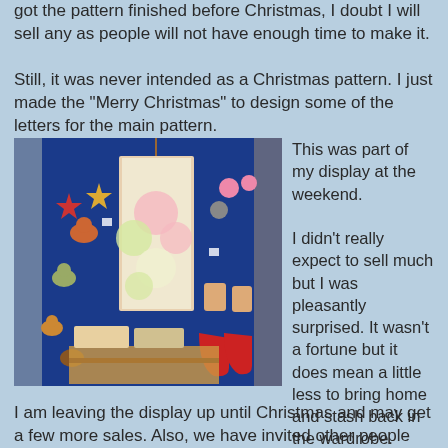got the pattern finished before Christmas, I doubt I will sell any as people will not have enough time to make it.
Still, it was never intended as a Christmas pattern. I just made the "Merry Christmas" to design some of the letters for the main pattern.
[Figure (photo): A craft display booth with a blue felt board covered in various handmade felt animal figures, bibs, and Christmas stockings. In the center hangs a floral needlework tapestry. Below the board is a table with boxes of crafts.]
This was part of my display at the weekend.
I didn't really expect to sell much but I was pleasantly surprised. It wasn't a fortune but it does mean a little less to bring home and stash back in the wardrobe.
I am leaving the display up until Christmas and may get a few more sales. Also, we have invited other people from